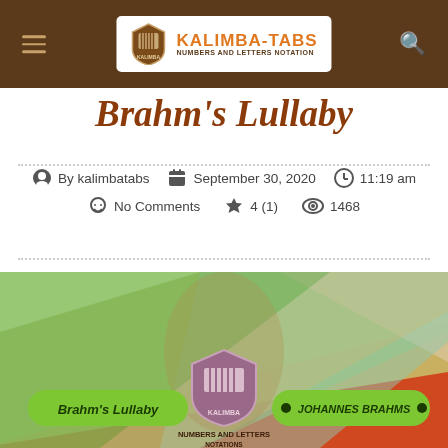KALIMBA-TABS NUMBERS AND LETTERS NOTATION
Brahm's Lullaby
By kalimbatabs   September 30, 2020   11:19 am   No Comments   4 (1)   1468
[Figure (illustration): Colorful diagonal stripe banner with Brahm's Lullaby label on left, Kalimba logo in center, and Johannes Brahms label on right]